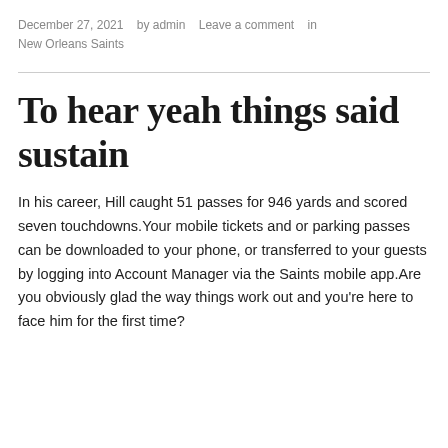December 27, 2021   by admin   Leave a comment   in New Orleans Saints
To hear yeah things said sustain
In his career, Hill caught 51 passes for 946 yards and scored seven touchdowns.Your mobile tickets and or parking passes can be downloaded to your phone, or transferred to your guests by logging into Account Manager via the Saints mobile app.Are you obviously glad the way things work out and you're here to face him for the first time?